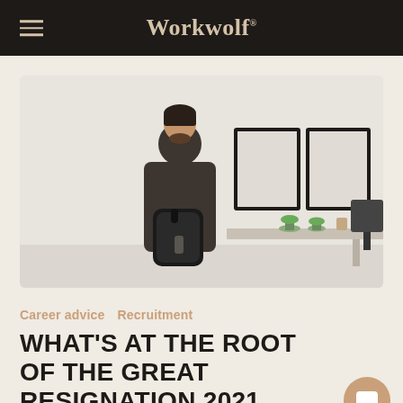Workwolf
[Figure (photo): A man in a dark hoodie packing a backpack in a minimalist office room with two framed canvases on the wall, potted plants, a table, and a black office chair.]
Career advice   Recruitment
WHAT'S AT THE ROOT OF THE GREAT RESIGNATION 2021